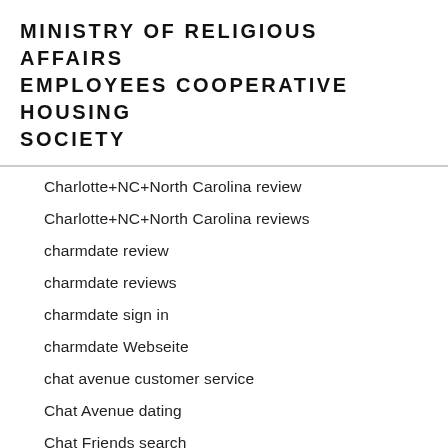MINISTRY OF RELIGIOUS AFFAIRS EMPLOYEES COOPERATIVE HOUSING SOCIETY
Charlotte+NC+North Carolina review
Charlotte+NC+North Carolina reviews
charmdate review
charmdate reviews
charmdate sign in
charmdate Webseite
chat avenue customer service
Chat Avenue dating
Chat Friends search
Chat Hour review